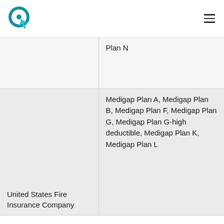ClickQuoteLogo navigation header
| Company | Plans Offered |
| --- | --- |
|  | Plan N |
| United States Fire Insurance Company | Medigap Plan A, Medigap Plan B, Medigap Plan F, Medigap Plan G, Medigap Plan G-high deductible, Medigap Plan K, Medigap Plan L |